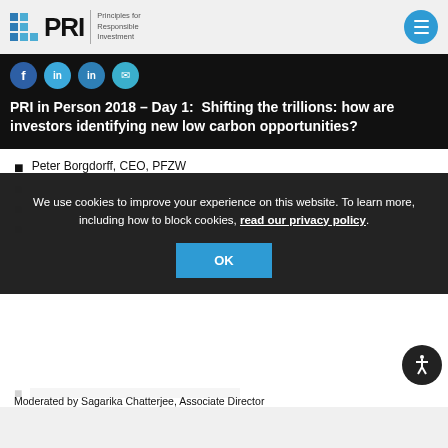PRI – Principles for Responsible Investment
[Figure (logo): PRI logo with blue grid squares and text 'Principles for Responsible Investment']
PRI in Person 2018 – Day 1:  Shifting the trillions: how are investors identifying new low carbon opportunities?
Peter Borgdorff, CEO, PFZW
We use cookies to improve your experience on this website. To learn more, including how to block cookies, read our privacy policy.
Moderated by Sagarika Chatterjee, Associate Director